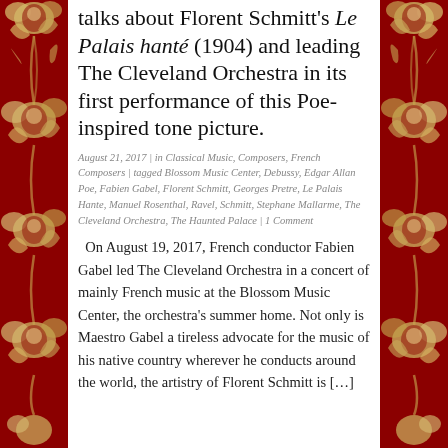[Figure (illustration): Left decorative border with dark red background and cream/gold floral Art Nouveau pattern]
[Figure (illustration): Right decorative border with dark red background and cream/gold floral Art Nouveau pattern]
talks about Florent Schmitt's Le Palais hanté (1904) and leading The Cleveland Orchestra in its first performance of this Poe-inspired tone picture.
August 21, 2017 | in Classical Music, Composers, French Composers | tagged Blossom Music Center, Debussy, Edgar Allan Poe, Fabien Gabel, Florent Schmitt, Georges Pretre, Le Palais Hante, Manuel Rosenthal, Ravel, Schmitt, Stephane Mallarme, The Cleveland Orchestra, The Haunted Palace | 1 Comment
On August 19, 2017, French conductor Fabien Gabel led The Cleveland Orchestra in a concert of mainly French music at the Blossom Music Center, the orchestra's summer home. Not only is Maestro Gabel a tireless advocate for the music of his native country wherever he conducts around the world, the artistry of Florent Schmitt is […]